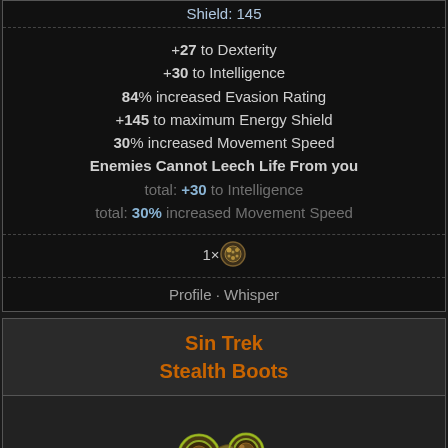Shield: 145
+27 to Dexterity
+30 to Intelligence
84% increased Evasion Rating
+145 to maximum Energy Shield
30% increased Movement Speed
Enemies Cannot Leech Life From you
total: +30 to Intelligence
total: 30% increased Movement Speed
[Figure (other): Currency orb icon (chaos orb style) with text '1×']
Profile · Whisper
Sin Trek
Stealth Boots
[Figure (illustration): Stealth Boots item image - stylized boots with round green-rimmed goggles on top, blue and black leather boots with buckles]